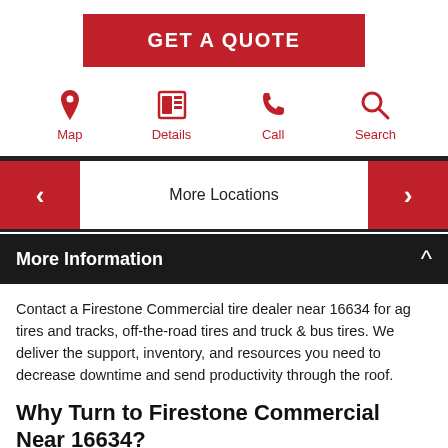GET A QUOTE
[Figure (infographic): Four icon buttons: Map (location pin), Details (newspaper), Call (phone), Search (magnifying glass)]
More Locations
More Information
Contact a Firestone Commercial tire dealer near 16634 for ag tires and tracks, off-the-road tires and truck & bus tires. We deliver the support, inventory, and resources you need to decrease downtime and send productivity through the roof.
Why Turn to Firestone Commercial Near 16634?
Firestone has long been associated with innovation and